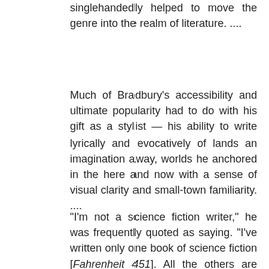singlehandedly helped to move the genre into the realm of literature. ....
Much of Bradbury's accessibility and ultimate popularity had to do with his gift as a stylist — his ability to write lyrically and evocatively of lands an imagination away, worlds he anchored in the here and now with a sense of visual clarity and small-town familiarity. ....
“I’m not a science fiction writer,” he was frequently quoted as saying. “I’ve written only one book of science fiction [Fahrenheit 451]. All the others are fantasy. Fantasies are things that can’t happen, and science fiction is about things that can happen.”
Ray Douglas Bradbury was born Aug. 22, 1920, in Waukegan, Ill., to Leonard Spaulding Bradbury and the former Esther Marie Moberg. As a child he soaked up the ambiance of small-town life — wraparound porches, fireflies and the soft, golden